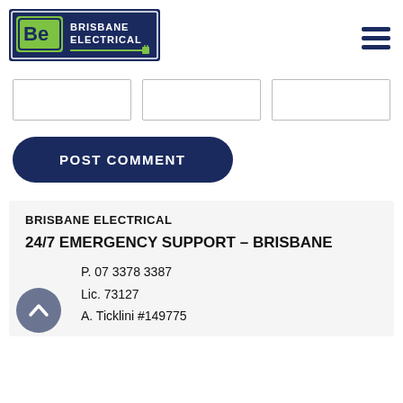[Figure (logo): Brisbane Electrical logo — dark navy rectangle with green 'Be' icon and plug graphic, text 'BRISBANE ELECTRICAL']
[Figure (other): Hamburger menu icon — three dark navy horizontal bars]
[Figure (other): Three empty input/form boxes in a row]
[Figure (other): POST COMMENT button — dark navy rounded pill shape with white bold uppercase text]
BRISBANE ELECTRICAL
24/7 EMERGENCY SUPPORT – BRISBANE
P. 07 3378 3387
Lic. 73127
A. Ticklini #149775